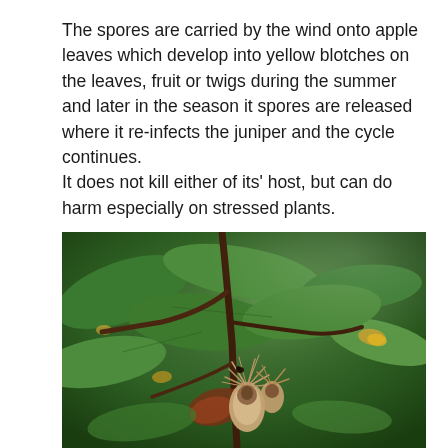The spores are carried by the wind onto apple leaves which develop into yellow blotches on the leaves, fruit or twigs during the summer and later in the season it spores are released where it re-infects the juniper and the cycle continues.
It does not kill either of its' host, but can do harm especially on stressed plants.
[Figure (photo): Close-up photograph of plant branches with green leaves, showing disease symptoms including yellowing and browning, with dried/damaged flower or fruiting structures in the foreground.]